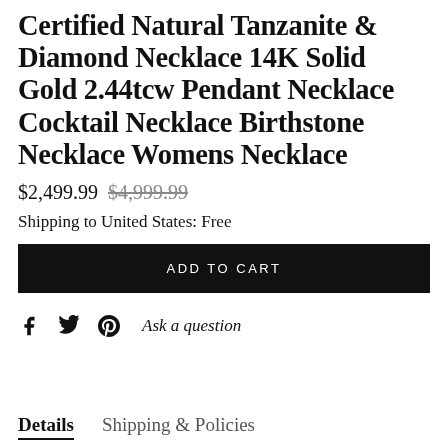Certified Natural Tanzanite & Diamond Necklace 14K Solid Gold 2.44tcw Pendant Necklace Cocktail Necklace Birthstone Necklace Womens Necklace
$2,499.99 $4,999.99
Shipping to United States: Free
ADD TO CART
Ask a question
Details   Shipping & Policies